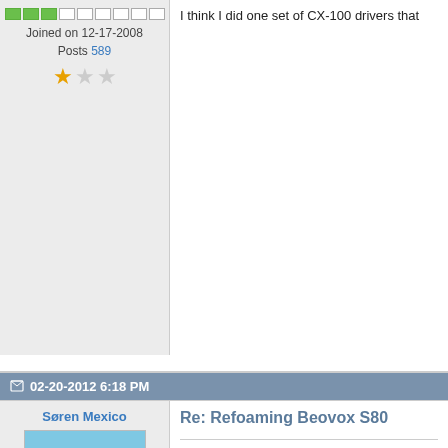Joined on 12-17-2008
Posts 589
I think I did one set of CX-100 drivers that
02-20-2012 6:18 PM
Søren Mexico
Re: Refoaming Beovox S80
sonavor: